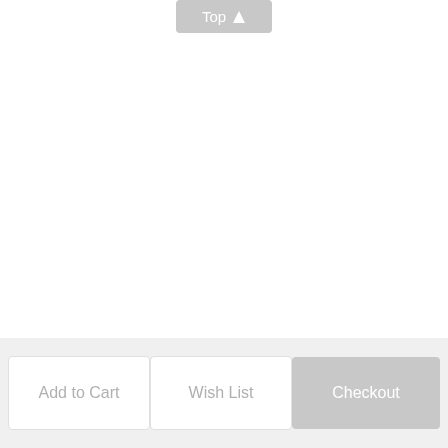[Figure (screenshot): A 'Top' button with an upward arrow, styled with a gray background and white text, positioned at the top center of the page.]
Add to Cart   Wish List   Checkout